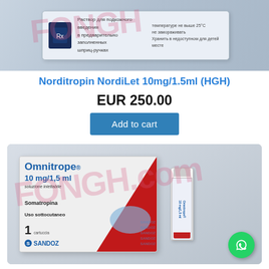[Figure (photo): Norditropin NordiLet pen injector product box with Russian text, shown against light blue-grey background with pink watermark overlay]
Norditropin NordiLet 10mg/1.5ml (HGH)
EUR 250.00
Add to cart
[Figure (photo): Omnitrope 10mg/1.5ml product box (Sandoz, Italian labeling: soluzione iniettabile, Somatropina, Uso sottocutaneo, 1 cartuccia) with red and blue design, next to a glass vial, pink watermark overlay reading FONGH.com, green WhatsApp button in corner]